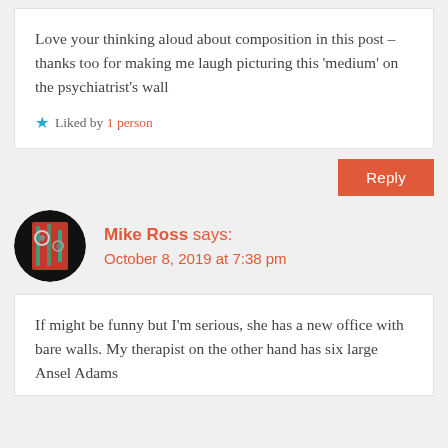Love your thinking aloud about composition in this post – thanks too for making me laugh picturing this 'medium' on the psychiatrist's wall
★ Liked by 1 person
Reply
Mike Ross says:
October 8, 2019 at 7:38 pm
If might be funny but I'm serious, she has a new office with bare walls. My therapist on the other hand has six large Ansel Adams